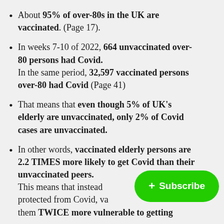About 95% of over-80s in the UK are vaccinated. (Page 17).
In weeks 7-10 of 2022, 664 unvaccinated over-80 persons had Covid. In the same period, 32,597 vaccinated persons over-80 had Covid (Page 41)
That means that even though 5% of UK's elderly are unvaccinated, only 2% of Covid cases are unvaccinated.
In other words, vaccinated elderly persons are 2.2 TIMES more likely to get Covid than their unvaccinated peers. This means that instead of being protected from Covid, va... them TWICE more vulnerable to getting